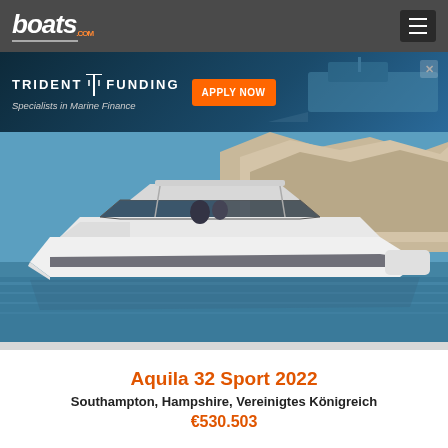boats.com
[Figure (screenshot): Trident Funding advertisement banner — 'Specialists in Marine Finance' with APPLY NOW button and boat image in background]
[Figure (photo): White Aquila 32 Sport 2022 powerboat on blue water with white chalk cliffs in background]
Aquila 32 Sport 2022
Southampton, Hampshire, Vereinigtes Königreich
€530.503